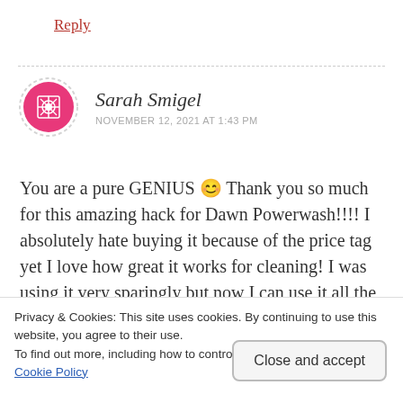Reply
Sarah Smigel
NOVEMBER 12, 2021 AT 1:43 PM
You are a pure GENIUS 😊 Thank you so much for this amazing hack for Dawn Powerwash!!!! I absolutely hate buying it because of the price tag yet I love how great it works for cleaning! I was using it very sparingly but now I can use it all the
Privacy & Cookies: This site uses cookies. By continuing to use this website, you agree to their use.
To find out more, including how to control cookies, see here:
Cookie Policy
Close and accept
Reply